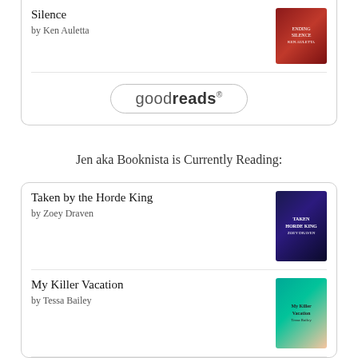Silence
by Ken Auletta
[Figure (screenshot): goodreads widget button]
Jen aka Booknista is Currently Reading:
Taken by the Horde King
by Zoey Draven
My Killer Vacation
by Tessa Bailey
[Figure (screenshot): goodreads widget button]